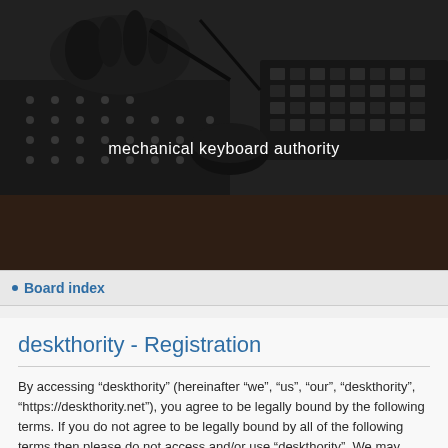[Figure (photo): Black and white photo of hands working on a mechanical keyboard circuit board with soldering equipment and keyboard parts visible]
mechanical keyboard authority
Board index
deskthority - Registration
By accessing “deskthority” (hereinafter “we”, “us”, “our”, “deskthority”, “https://deskthority.net”), you agree to be legally bound by the following terms. If you do not agree to be legally bound by all of the following terms then please do not access and/or use “deskthority”. We may change these at any time and we’ll do our utmost in informing you, though it would be prudent